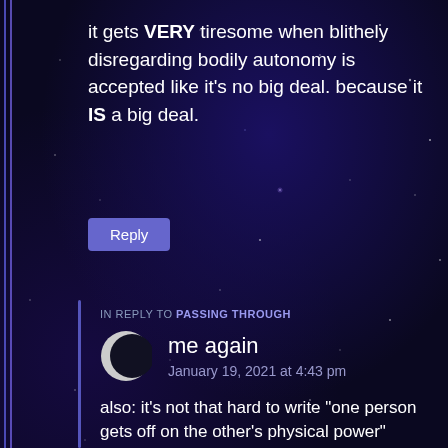it gets VERY tiresome when blithely disregarding bodily autonomy is accepted like it’s no big deal. because it IS a big deal.
Reply
IN REPLY TO PASSING THROUGH
me again
January 19, 2021 at 4:43 pm
also: it’s not that hard to write “one person gets off on the other’s physical power” WITHOUT going into blithely disregarding bodily autonomy and manhandling the